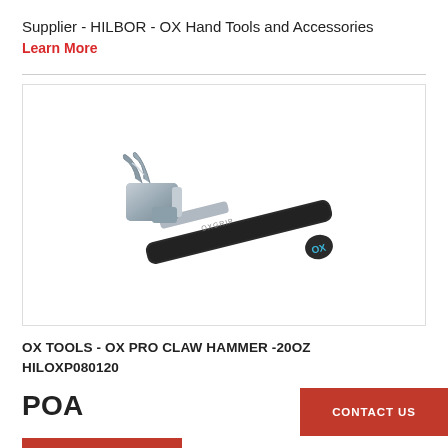Supplier - HILBOR - OX Hand Tools and Accessories
Learn More
[Figure (photo): Product photo of an OX Pro claw hammer with steel head and black/blue rubber grip handle, shown diagonally on white background.]
OX TOOLS - OX PRO CLAW HAMMER -20OZ HILOXP080120
POA
CONTACT US